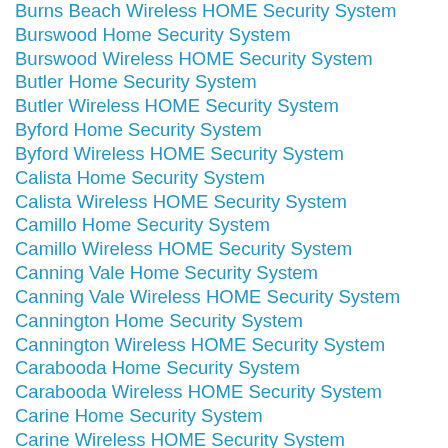Burns Beach Wireless HOME Security System
Burswood Home Security System
Burswood Wireless HOME Security System
Butler Home Security System
Butler Wireless HOME Security System
Byford Home Security System
Byford Wireless HOME Security System
Calista Home Security System
Calista Wireless HOME Security System
Camillo Home Security System
Camillo Wireless HOME Security System
Canning Vale Home Security System
Canning Vale Wireless HOME Security System
Cannington Home Security System
Cannington Wireless HOME Security System
Carabooda Home Security System
Carabooda Wireless HOME Security System
Carine Home Security System
Carine Wireless HOME Security System